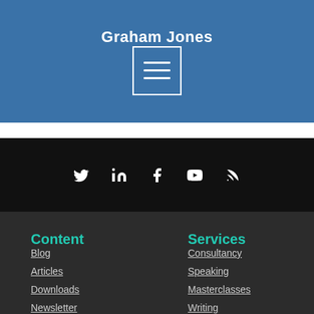Graham Jones
[Figure (other): Hamburger menu icon — a square outline with three horizontal lines inside]
[Figure (other): Social media icons row: Twitter, LinkedIn, Facebook, YouTube, RSS]
Content
Blog
Articles
Downloads
Newsletter
Services
Consultancy
Speaking
Masterclasses
Writing